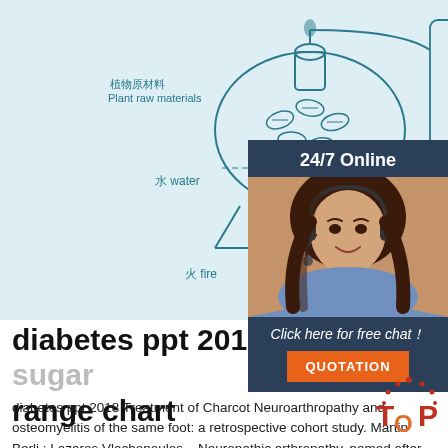[Figure (illustration): Bilingual (Chinese/English) chemistry/distillation diagram showing plant raw materials, water, fire, radiator tube, essential oil, and hydrosol labels on a blue-tinted background.]
[Figure (infographic): 24/7 Online customer service chat widget overlay with a photo of a woman wearing a headset, dark navy background, 'Click here for free chat!' text, and an orange QUOTATION button.]
diabetes ppt 2018 ????blood sugar range chart
diabetes ppt 2018 Treatment of Charcot Neuroarthropathy and osteomyelitis of the same foot: a retrospective cohort study. Martin Berli,; Lazaros Vlachopoulos ...Neuropathic arthropathy, named after French neurologist Jean-Martin